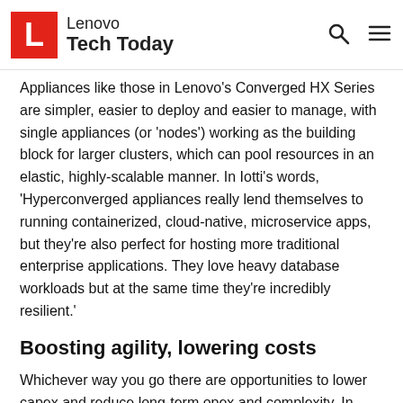Lenovo Tech Today
Appliances like those in Lenovo's Converged HX Series are simpler, easier to deploy and easier to manage, with single appliances (or 'nodes') working as the building block for larger clusters, which can pool resources in an elastic, highly-scalable manner. In Iotti's words, 'Hyperconverged appliances really lend themselves to running containerized, cloud-native, microservice apps, but they're also perfect for hosting more traditional enterprise applications. They love heavy database workloads but at the same time they're incredibly resilient.'
Boosting agility, lowering costs
Whichever way you go there are opportunities to lower capex and reduce long-term opex and complexity. In fact, using system management solutions, such as Lenovo XClarity, it's possible to reduce the burden of